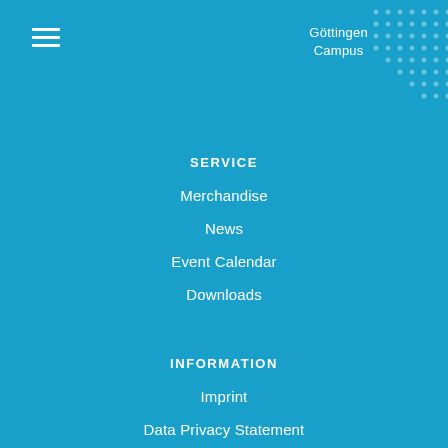[Figure (logo): Hamburger menu icon (three horizontal white lines) in top-left corner]
Göttingen Campus
[Figure (illustration): Decorative dot pattern grid in top-right corner on blue background]
SERVICE
Merchandise
News
Event Calendar
Downloads
INFORMATION
Imprint
Data Privacy Statement
Contact
LANGUAGE
✓ English